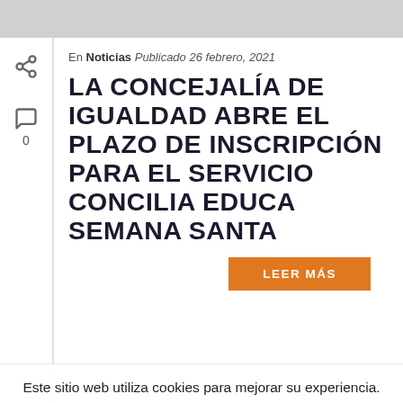[Figure (screenshot): Grey banner at the top of the page]
En Noticias Publicado 26 febrero, 2021
LA CONCEJALÍA DE IGUALDAD ABRE EL PLAZO DE INSCRIPCIÓN PARA EL SERVICIO CONCILIA EDUCA SEMANA SANTA
LEER MÁS
Este sitio web utiliza cookies para mejorar su experiencia. Asumiremos que está de acuerdo con esto, pero puede optar por no participar si lo desea.
+ info
ACEPTAR